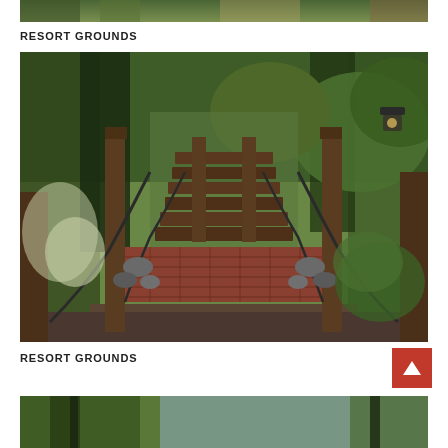[Figure (photo): Partial top of a photo showing resort grounds with trees — top portion cropped at top of page]
RESORT GROUNDS
[Figure (photo): Outdoor pathway at resort grounds showing a brick walkway leading to wooden stairs with metal railings and wooden posts, surrounded by pine trees and lush green foliage]
RESORT GROUNDS
[Figure (photo): Partial bottom photo of resort grounds with tall trees, partially cropped at the bottom of the page]